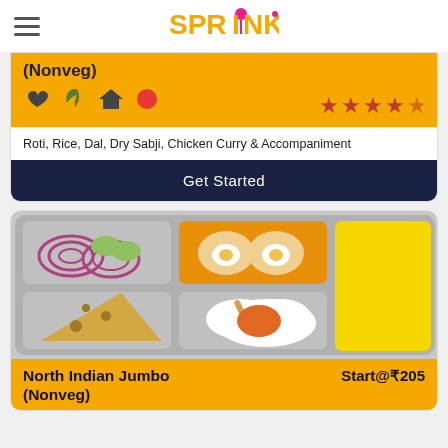SPRINK (logo)
(Nonveg)
★★★★☆
Roti, Rice, Dal, Dry Sabji, Chicken Curry & Accompaniment
Get Started
[Figure (illustration): Food tray illustration with compartments showing onions and cucumber slices, two fried eggs on orange background, a yellow compartment, a wedge of cheese, and a chicken drumstick on white gravy]
North Indian Jumbo (Nonveg)
Start@₹205